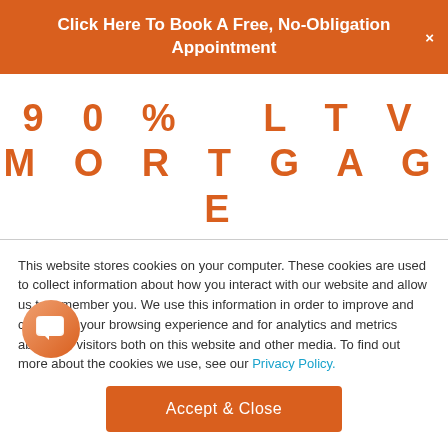Click Here To Book A Free, No-Obligation Appointment
90% LTV MORTGAGE ?
We've touched on this before, but as a quick reminder: LTV stands
This website stores cookies on your computer. These cookies are used to collect information about how you interact with our website and allow us to remember you. We use this information in order to improve and customise your browsing experience and for analytics and metrics about our visitors both on this website and other media. To find out more about the cookies we use, see our Privacy Policy.
Accept & Close